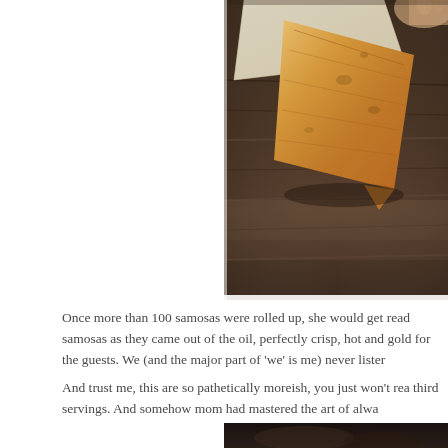[Figure (photo): Close-up photograph of a golden-brown crispy samosa on a dark wooden board, with parchment paper visible. A hand is partially visible in the top right corner.]
Once more than 100 samosas were rolled up, she would get read samosas as they came out of the oil, perfectly crisp, hot and gold for the guests. We (and the major part of 'we' is me) never lister
And trust me, this are so pathetically moreish, you just won't rea third servings. And somehow mom had mastered the art of alwa
[Figure (photo): Partial view of a second food photograph with dark background, partially cut off at bottom of page.]